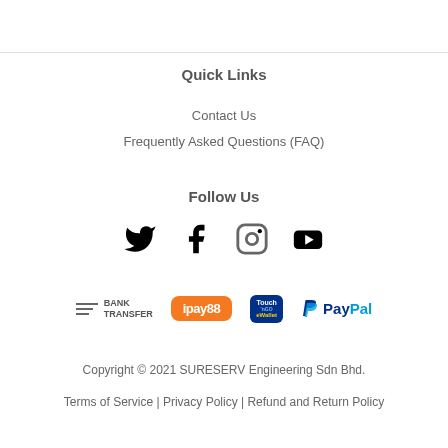Quick Links
Contact Us
Frequently Asked Questions (FAQ)
Follow Us
[Figure (illustration): Social media icons: Twitter, Facebook, Instagram, YouTube]
[Figure (illustration): Payment method logos: Bank Transfer, ipay88, Touch n Go eWallet, PayPal]
Copyright © 2021 SURESERV Engineering Sdn Bhd.
Terms of Service | Privacy Policy | Refund and Return Policy